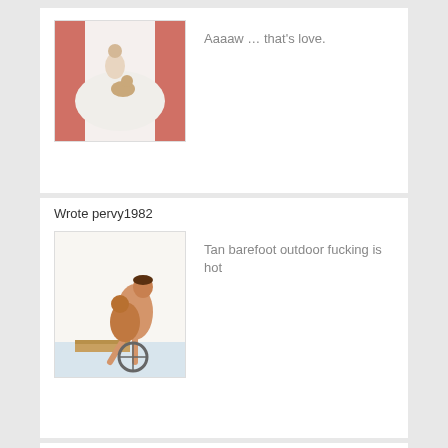[Figure (illustration): Illustration of two figures in a bed scene with red curtains]
Aaaaw … that's love.
Wrote pervy1982
[Figure (illustration): Illustration of two figures in an outdoor scene]
Tan barefoot outdoor fucking is hot
Wrote jyou1
[Figure (photo): Black and white photo of a man]
kuss jenny ;)